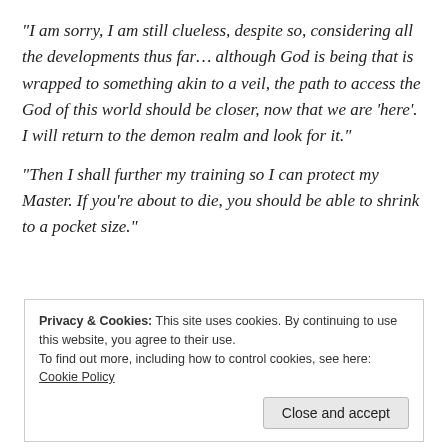“I am sorry, I am still clueless, despite so, considering all the developments thus far… although God is being that is wrapped to something akin to a veil, the path to access the God of this world should be closer, now that we are ‘here’. I will return to the demon realm and look for it.”
“Then I shall further my training so I can protect my Master. If you’re about to die, you should be able to shrink to a pocket size.”
Privacy & Cookies: This site uses cookies. By continuing to use this website, you agree to their use.
To find out more, including how to control cookies, see here: Cookie Policy
Close and accept